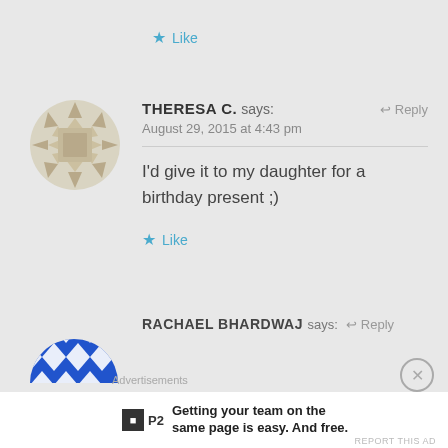★ Like
[Figure (illustration): Avatar: tan geometric diamond/crystal pattern avatar for Theresa C.]
THERESA C. says: ↩ Reply
August 29, 2015 at 4:43 pm
I'd give it to my daughter for a birthday present ;)
★ Like
[Figure (illustration): Avatar: blue and white checkered/diamond pattern hat-like avatar for Rachael Bhardwaj]
RACHAEL BHARDWAJ says: ↩ Reply
Advertisements
P2  Getting your team on the same page is easy. And free.